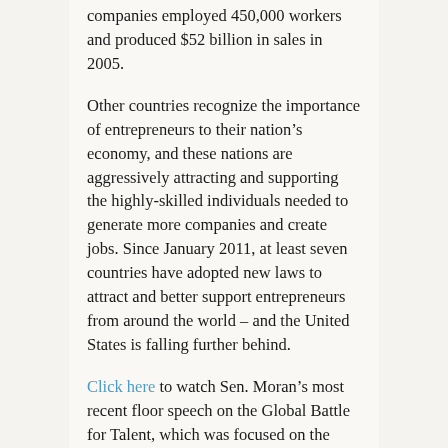companies employed 450,000 workers and produced $52 billion in sales in 2005.
Other countries recognize the importance of entrepreneurs to their nation’s economy, and these nations are aggressively attracting and supporting the highly-skilled individuals needed to generate more companies and create jobs. Since January 2011, at least seven countries have adopted new laws to attract and better support entrepreneurs from around the world – and the United States is falling further behind.
Click here to watch Sen. Moran’s most recent floor speech on the Global Battle for Talent, which was focused on the steps Canada is taking to attract entrepreneurs and jobs.
# # #